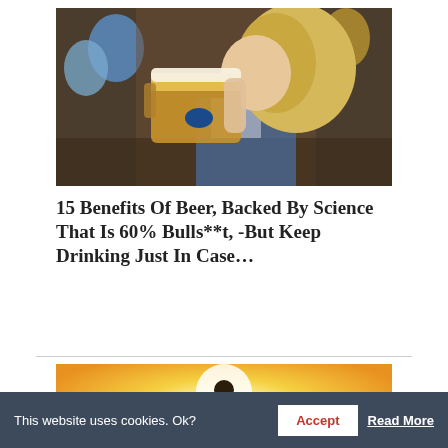[Figure (photo): Woman drinking from a large beer stein/mug at what appears to be a festive event with blue balloons in the background]
15 Benefits Of Beer, Backed By Science That Is 60% Bulls**t, -But Keep Drinking Just In Case…
[Figure (photo): Silhouette of a person meditating against a bright golden/yellow glowing background]
This website uses cookies. Ok?
Accept
Read More